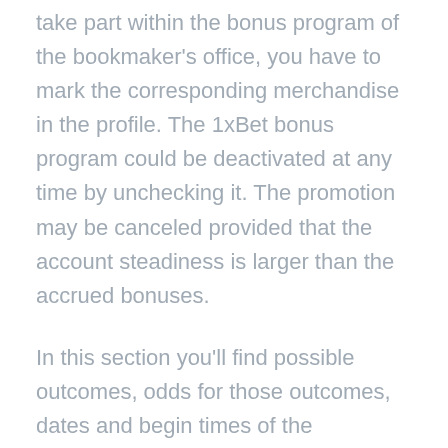take part within the bonus program of the bookmaker's office, you have to mark the corresponding merchandise in the profile. The 1xBet bonus program could be deactivated at any time by unchecking it. The promotion may be canceled provided that the account steadiness is larger than the accrued bonuses.
In this section you'll find possible outcomes, odds for those outcomes, dates and begin times of the occasions. Not limiting the scale of this 1xBet referral bonus in any means, 1xBet does its finest to ensure that its members usually are not disadvantaged of their betting pleasure. The well-known 1xBet betting firm is among the first in the domestic betting market. The distinction between the bookmaker workplace is excessive coefficients and a wide line.